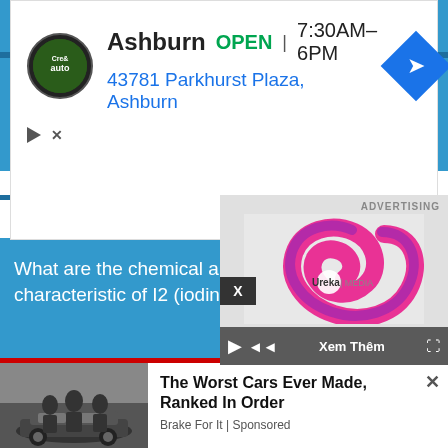[Figure (screenshot): Advertisement banner for Cre & auto shop in Ashburn showing logo, OPEN status, hours 7:30AM-6PM, address 43781 Parkhurst Plaza Ashburn, and blue diamond navigation icon]
characteristic of KI (potassium iodide)?
What are the chemical reactions that have KI (potassium iodide) as reactant?
Questions related to pr
What are the chemical and p characteristic of I2 (iodine)?
[Figure (screenshot): Ureka Media video overlay advertisement with pink/magenta spiral logo, X close button, and video controls including play, back, Xem Them (see more) and expand buttons]
[Figure (photo): Three men in suits standing next to a car, vintage black and white style photo]
The Worst Cars Ever Made, Ranked In Order
Brake For It | Sponsored